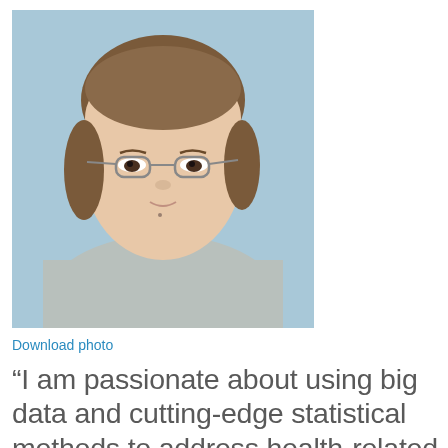[Figure (photo): Headshot photo of an Asian woman with short brown hair and glasses, wearing a light grey sweater, against a light blue background.]
Download photo
“I am passionate about using big data and cutting-edge statistical methods to address health-related problems to help people live a healthier life through